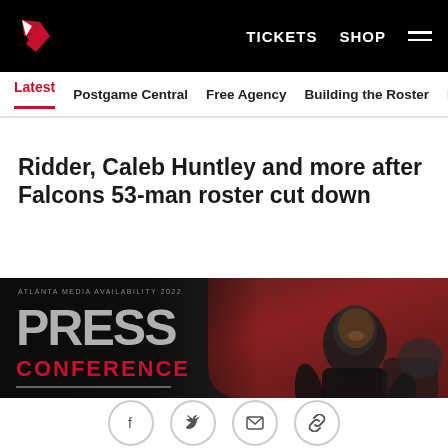Atlanta Falcons — TICKETS  SHOP
Latest  Postgame Central  Free Agency  Building the Roster  N...
Ridder, Caleb Huntley and more after Falcons 53-man roster cut down
[Figure (photo): Press conference graphic for Marcus Mariota with player photo at Atlanta Falcons stadium, showing PRESS CONFERENCE / MARCUS / MARIOTA text overlay on dark background with red stadium seats visible]
Share icons: Facebook, Twitter, Email, Link